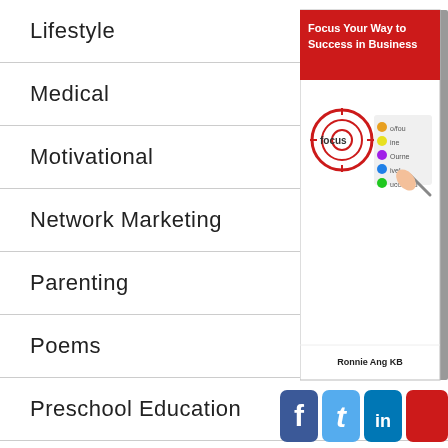Lifestyle
Medical
Motivational
Network Marketing
Parenting
Poems
Preschool Education
Public Speaking
Real Estate
[Figure (illustration): Book cover titled 'Focus Your Way to Success in Business' by Ronnie Ang KB, with a red header, target/focus graphic and a checklist with colored dots]
[Figure (illustration): Social media icons: Facebook (dark blue 'f'), Twitter (light blue 't'), LinkedIn (dark blue 'in'), and a red icon (partially cropped)]
[Figure (illustration): Partial view of A2Z Leadership book cover with a person's photo]